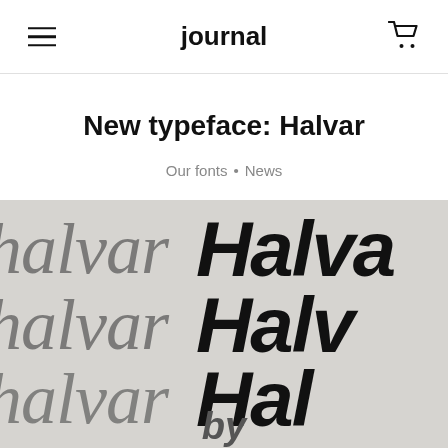journal
New typeface: Halvar
Our fonts • News
[Figure (photo): Typeface specimen showing 'halvar' in thin italic script style on the left and bold italic 'Halva' on the right, repeated across three rows on a light gray textured background, with partial 'by' text visible at bottom center.]